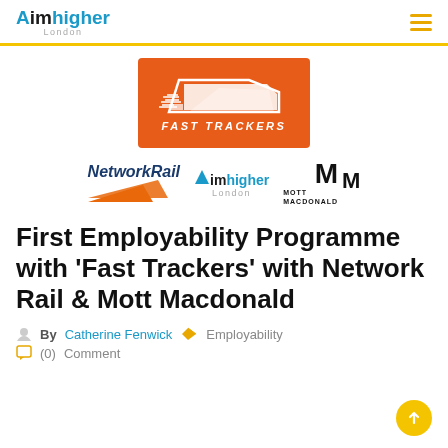Aimhigher London
[Figure (logo): Fast Trackers orange logo with train silhouette and 'FAST TRACKERS' text]
[Figure (logo): Network Rail, Aimhigher London, and Mott Macdonald partner logos in a row]
First Employability Programme with 'Fast Trackers' with Network Rail & Mott Macdonald
By Catherine Fenwick  Employability  (0) Comment